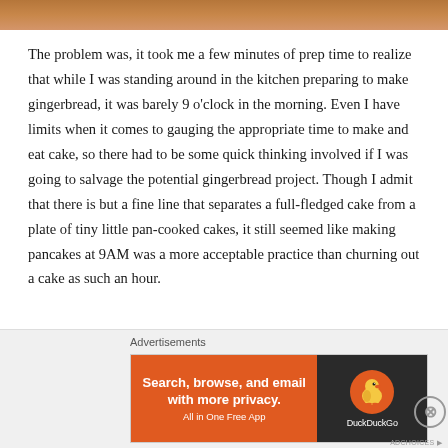[Figure (photo): Partial photo strip at top of page showing a wooden surface, cropped]
The problem was, it took me a few minutes of prep time to realize that while I was standing around in the kitchen preparing to make gingerbread, it was barely 9 o'clock in the morning. Even I have limits when it comes to gauging the appropriate time to make and eat cake, so there had to be some quick thinking involved if I was going to salvage the potential gingerbread project. Though I admit that there is but a fine line that separates a full-fledged cake from a plate of tiny little pan-cooked cakes, it still seemed like making pancakes at 9AM was a more acceptable practice than churning out a cake as such an hour.
[Figure (screenshot): DuckDuckGo advertisement banner: orange left panel with text 'Search, browse, and email with more privacy. All in One Free App', dark right panel with DuckDuckGo duck logo and 'DuckDuckGo' text]